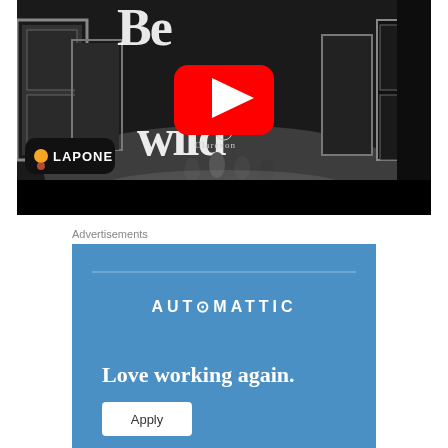[Figure (screenshot): YouTube video thumbnail showing a music video with text 'Be wild' visible, figures in the background, LAPONE logo bottom left, Clarexon logo center, YouTube play button overlay in center]
Advertisements
[Figure (screenshot): Automattic advertisement on blue background with text 'Love working again.' and an Apply button]